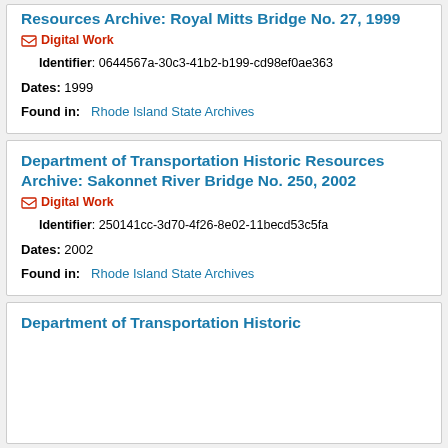Resources Archive: Royal Mitts Bridge No. 27, 1999
Digital Work
Identifier: 0644567a-30c3-41b2-b199-cd98ef0ae363
Dates: 1999
Found in: Rhode Island State Archives
Department of Transportation Historic Resources Archive: Sakonnet River Bridge No. 250, 2002
Digital Work
Identifier: 250141cc-3d70-4f26-8e02-11becd53c5fa
Dates: 2002
Found in: Rhode Island State Archives
Department of Transportation Historic